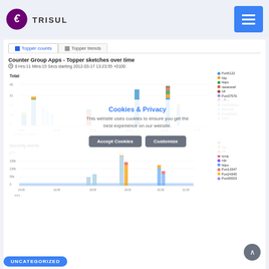TRISUL
Topper counts | Topper trends
Counter Group Apps - Topper sketches over time
8 Hrs:11 Mins:15 Secs starting 2012-03-17 13:23:55 +0100
[Figure (stacked-bar-chart): Stacked bar chart showing topper counts over time for Counter Group Apps including Port5122, Ntp, https, newestref, rdl, Port37576, rdllav, Port26500d, MacJark, Port30003, OtHt legends. Time axis from ~14:00 to ~21:00 on 2013-03-17.]
[Figure (stacked-bar-chart): Stacked bar chart showing security alerts over time. Legends: Ntp, rdl, tcmp, rdp, https, Port13347, Port24345, Port30003. Time axis from 14:00 to 21:00.]
Cookies & Privacy
This website uses cookies to ensure you get the best experience on our website.
Accept Cookies   Customize
UNCATEGORIZED